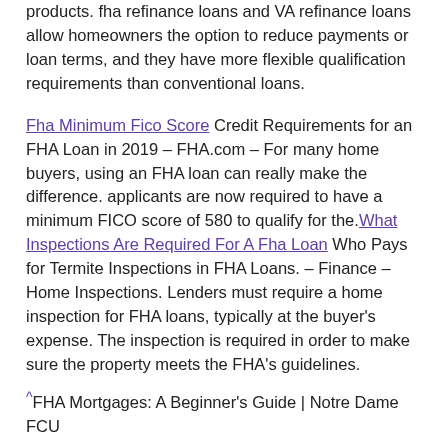products. fha refinance loans and VA refinance loans allow homeowners the option to reduce payments or loan terms, and they have more flexible qualification requirements than conventional loans.
Fha Minimum Fico Score Credit Requirements for an FHA Loan in 2019 – FHA.com – For many home buyers, using an FHA loan can really make the difference. applicants are now required to have a minimum FICO score of 580 to qualify for the. What Inspections Are Required For A Fha Loan Who Pays for Termite Inspections in FHA Loans. – Finance – Home Inspections. Lenders must require a home inspection for FHA loans, typically at the buyer's expense. The inspection is required in order to make sure the property meets the FHA's guidelines.
^FHA Mortgages: A Beginner's Guide | Notre Dame FCU